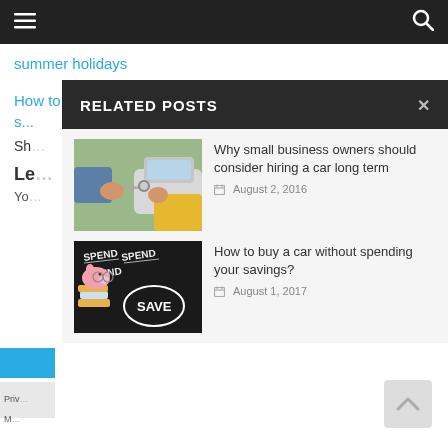Navigation bar with hamburger menu and search icon
summer holidays
How to choose the right Contact Management s...
Sh...
Le...
Yo...
RELATED POSTS
[Figure (photo): Person handing car keys through window]
Why small business owners should consider hiring a car long term
August 2, 2016
[Figure (photo): Chalkboard with 'Spend Spend Spend Save' text and piggy bank]
How to buy a car without spending your savings?
August 1, 2017